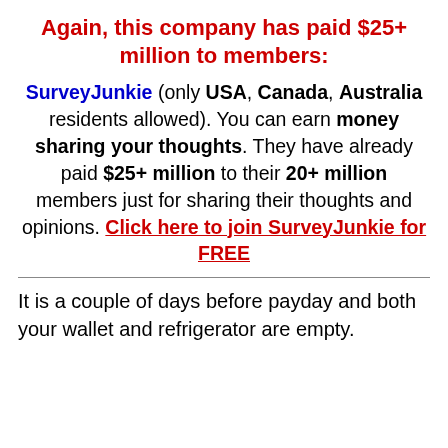Again, this company has paid $25+ million to members:
SurveyJunkie (only USA, Canada, Australia residents allowed). You can earn money sharing your thoughts. They have already paid $25+ million to their 20+ million members just for sharing their thoughts and opinions. Click here to join SurveyJunkie for FREE
It is a couple of days before payday and both your wallet and refrigerator are empty.